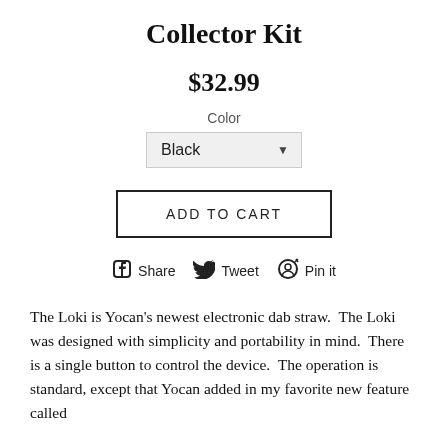Collector Kit
$32.99
Color
Black
ADD TO CART
Share  Tweet  Pin it
The Loki is Yocan's newest electronic dab straw.  The Loki was designed with simplicity and portability in mind.  There is a single button to control the device.  The operation is standard, except that Yocan added in my favorite new feature called